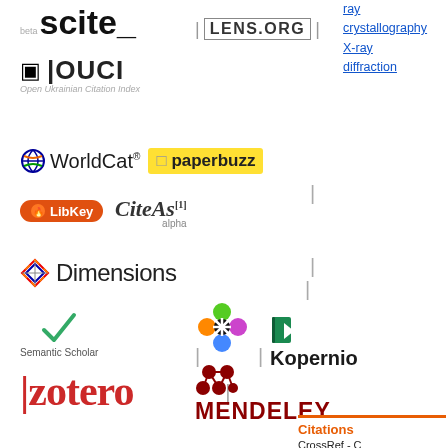[Figure (logo): scite_ beta logo with LENS.ORG and OUCI logos]
ray crystallography X-ray diffraction (sidebar links)
[Figure (logo): WorldCat logo | paperbuzz logo | LibKey logo | CiteAs[1] alpha logo]
[Figure (logo): Dimensions logo with geometric diamond icon]
[Figure (logo): Semantic Scholar | colorful flower/snowflake logo | Kopernio logo]
[Figure (logo): zotero logo | MENDELEY logo]
[Figure (logo): Large purple Altmetric/Zotero flower logo]
Citations
CrossRef - C
Captures
EBSCO - Ex|
Mendeley - R
[Figure (logo): PlumX logo with text: PLUMX - S|]
[Figure (logo): Zotero Z icon - Save to Zotero | Mendeley M icon - Save to]